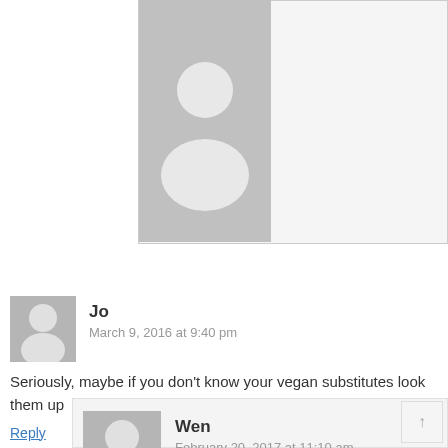[Figure (screenshot): Partially visible top comment block with gray avatar placeholder and bordered indented box]
Jo
March 9, 2016 at 9:40 pm
Seriously, maybe if you don't know your vegan substitutes look them up
Reply
Wen
February 20, 2017 at 11:10 am
Please be a little kinder in your commenting.